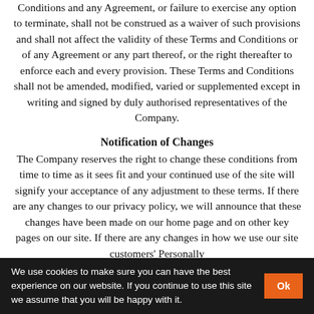Conditions and any Agreement, or failure to exercise any option to terminate, shall not be construed as a waiver of such provisions and shall not affect the validity of these Terms and Conditions or of any Agreement or any part thereof, or the right thereafter to enforce each and every provision. These Terms and Conditions shall not be amended, modified, varied or supplemented except in writing and signed by duly authorised representatives of the Company.
Notification of Changes
The Company reserves the right to change these conditions from time to time as it sees fit and your continued use of the site will signify your acceptance of any adjustment to these terms. If there are any changes to our privacy policy, we will announce that these changes have been made on our home page and on other key pages on our site. If there are any changes in how we use our site customers' Personally
We use cookies to make sure you can have the best experience on our website. If you continue to use this site we assume that you will be happy with it. Ok